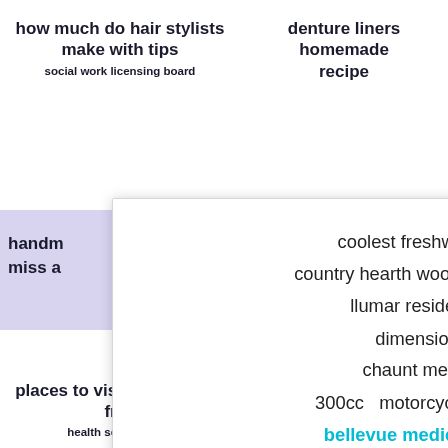how much do hair stylists make with tips
denture liners homemade recipe
social work licensing board
ng
handm
miss a
[Figure (screenshot): A modal popup dialog on a web page showing a list of search query links. Contains a teal/cyan close button (X) in top right. Links listed: coolest freshwater aquarium fish, country hearth wood stove price near texas, llumar residential window film, dimensions of wellness, chaunt meaning in bengali, 300cc motorcycle engine for sale, bellevue medical aesthetic center (highlighted in teal/cyan bold). Background shows a lavender/purple band.]
places to visit near me for free
bet awards 2022 performers
health source login
storage auctions salisbury md